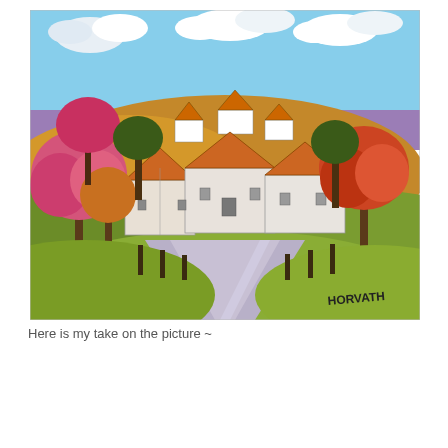[Figure (illustration): A folk art style painting of a rural countryside scene. A winding road leads toward white farm buildings with orange/brown roofs nestled among colorful trees (pink, red, dark green, and golden foliage). Green rolling hills frame the scene, fence posts line the road, and a purple horizon with blue sky and white clouds fills the background. Signed 'HORVATH' in the lower right corner.]
Here is my take on the picture ~